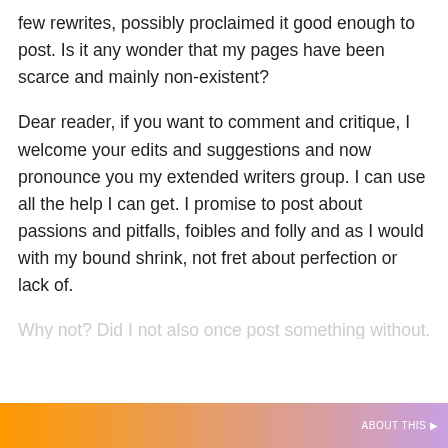few rewrites, possibly proclaimed it good enough to post. Is it any wonder that my pages have been scarce and mainly non-existent?
Dear reader, if you want to comment and critique, I welcome your edits and suggestions and now pronounce you my extended writers group. I can use all the help I can get. I promise to post about passions and pitfalls, foibles and folly and as I would with my bound shrink, not fret about perfection or lack of.
[partial line obscured by cookie banner]
Privacy & Cookies: This site uses cookies. By continuing to use this website, you agree to their use.
To find out more, including how to control cookies, see here: Cookie Policy
Close and accept